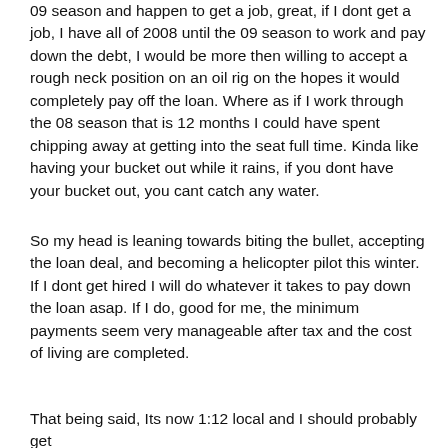09 season and happen to get a job, great, if I dont get a job, I have all of 2008 until the 09 season to work and pay down the debt, I would be more then willing to accept a rough neck position on an oil rig on the hopes it would completely pay off the loan. Where as if I work through the 08 season that is 12 months I could have spent chipping away at getting into the seat full time. Kinda like having your bucket out while it rains, if you dont have your bucket out, you cant catch any water.
So my head is leaning towards biting the bullet, accepting the loan deal, and becoming a helicopter pilot this winter. If I dont get hired I will do whatever it takes to pay down the loan asap. If I do, good for me, the minimum payments seem very manageable after tax and the cost of living are completed.
That being said, Its now 1:12 local and I should probably get